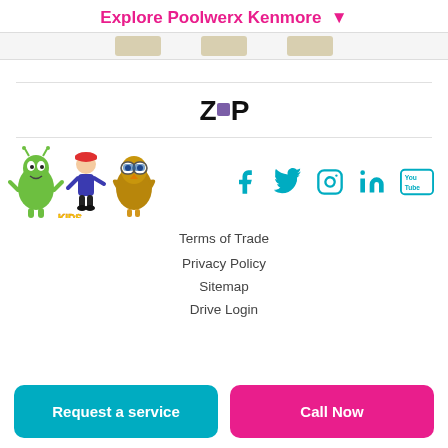Explore Poolwerx Kenmore ▾
[Figure (logo): Zip payment logo with purple square replacing 'i']
[Figure (illustration): Kids Alive Do The Five logo with cartoon characters - alien, person, and owl]
[Figure (infographic): Social media icons: Facebook, Twitter, Instagram, LinkedIn, YouTube in teal]
Terms of Trade
Privacy Policy
Sitemap
Drive Login
Request a service
Call Now